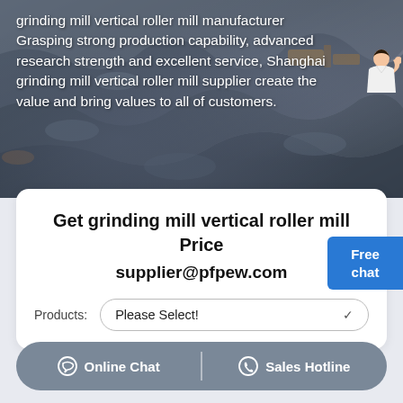[Figure (photo): Aerial view of a mining or quarry site with rocky terrain, gray and brown tones, heavy industry landscape visible from above.]
grinding mill vertical roller mill manufacturer Grasping strong production capability, advanced research strength and excellent service, Shanghai grinding mill vertical roller mill supplier create the value and bring values to all of customers.
Get grinding mill vertical roller mill Price
supplier@pfpew.com
Products: Please Select!
Online Chat | Sales Hotline